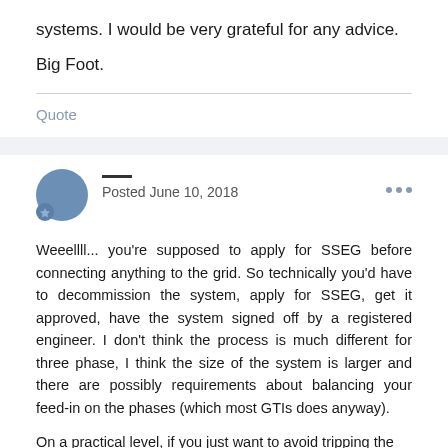systems. I would be very grateful for any advice.
Big Foot.
Quote
Posted June 10, 2018
Weeellll... you're supposed to apply for SSEG before connecting anything to the grid. So technically you'd have to decommission the system, apply for SSEG, get it approved, have the system signed off by a registered engineer. I don't think the process is much different for three phase, I think the size of the system is larger and there are possibly requirements about balancing your feed-in on the phases (which most GTIs does anyway).
On a practical level, if you just want to avoid tripping the prepaid